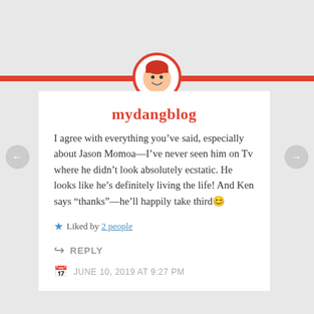[Figure (illustration): Circular avatar with red border showing a cartoon person with red hair, centered above a red horizontal bar and white comment card]
mydangblog
I agree with everything you've said, especially about Jason Momoa—I've never seen him on Tv where he didn't look absolutely ecstatic. He looks like he's definitely living the life! And Ken says “thanks”—he'll happily take third😊
Liked by 2 people
REPLY
JUNE 10, 2019 AT 9:27 PM